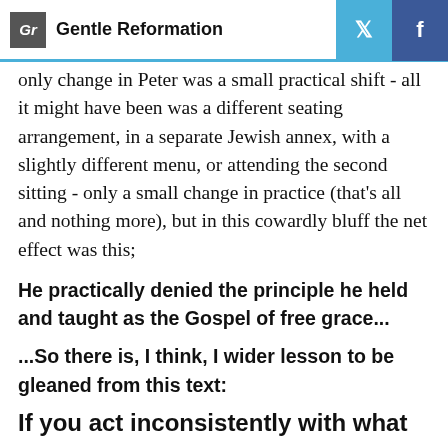Gentle Reformation
only change in Peter was a small practical shift - all it might have been was a different seating arrangement, in a separate Jewish annex, with a slightly different menu, or attending the second sitting - only a small change in practice (that's all and nothing more), but in this cowardly bluff the net effect was this;
He practically denied the principle he held and taught as the Gospel of free grace...
...So there is, I think, I wider lesson to be gleaned from this text:
If you act inconsistently with what you